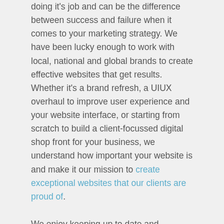doing it's job and can be the difference between success and failure when it comes to your marketing strategy. We have been lucky enough to work with local, national and global brands to create effective websites that get results. Whether it's a brand refresh, a UIUX overhaul to improve user experience and your website interface, or starting from scratch to build a client-focussed digital shop front for your business, we understand how important your website is and make it our mission to create exceptional websites that our clients are proud of.
We enjoy keeping up to date and evolving with the changing consumer landscape. Our Buzzword team is a blend of digital natives and experienced senior designers, developers and marketing professionals who